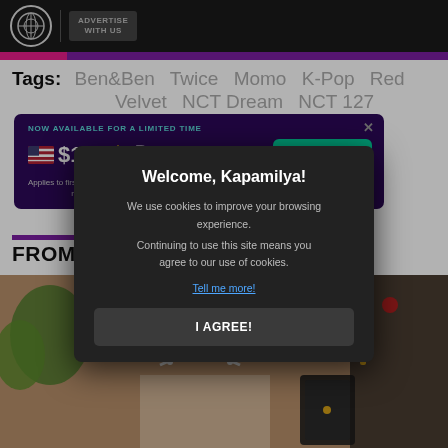ABS-CBN | ADVERTISE WITH US
Tags: Ben&Ben Twice Momo K-Pop Red Velvet NCT Dream NCT 127
[Figure (infographic): Pomelo advertisement banner: NOW AVAILABLE FOR A LIMITED TIME. $1 = ₱60. CLAIM OFFER. Applies to first $500 spent in 45 days for new customers. pomelo logo.]
FROM TH
[Figure (photo): Woman wearing pearl necklace and floral top, holding a phone, jewelry display in background.]
Welcome, Kapamilya!
We use cookies to improve your browsing experience.
Continuing to use this site means you agree to our use of cookies.
Tell me more!
I AGREE!